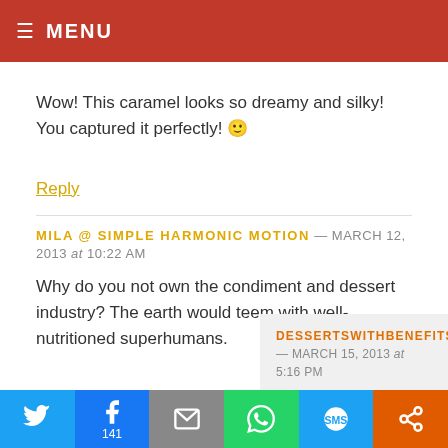MENU
Wow! This caramel looks so dreamy and silky! You captured it perfectly! 🙂
Reply
MILA @ SIMPLE HARMONIC MOTION — MARCH 12, 2013 at 10:22 AM
Why do you not own the condiment and dessert industry? The earth would teem with well-nutritioned superhumans.
Reply
DESSERTSWITHBENEFITS — MARCH 15, 2013 at 5:16 PM